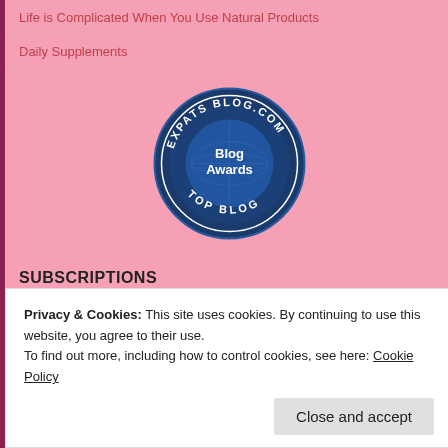Life is Complicated When You Use Natural Products
Daily Supplements
[Figure (logo): ExpatsBlog.com Blog Awards Top Blog circular badge with dark blue background and globe graphic]
SUBSCRIPTIONS
Enter your email address to follow this blog and receive notifications of new posts by
Privacy & Cookies: This site uses cookies. By continuing to use this website, you agree to their use.
To find out more, including how to control cookies, see here: Cookie Policy
Close and accept